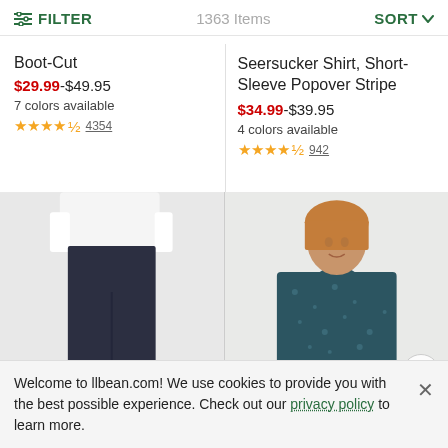FILTER   1363 Items   SORT
Boot-Cut
$29.99-$49.95
7 colors available
★★★★½ 4354
Seersucker Shirt, Short-Sleeve Popover Stripe
$34.99-$39.95
4 colors available
★★★★½ 942
[Figure (photo): Woman wearing navy boot-cut pants]
[Figure (photo): Woman wearing a dark teal patterned long-sleeve top]
Welcome to llbean.com! We use cookies to provide you with the best possible experience. Check out our privacy policy to learn more.